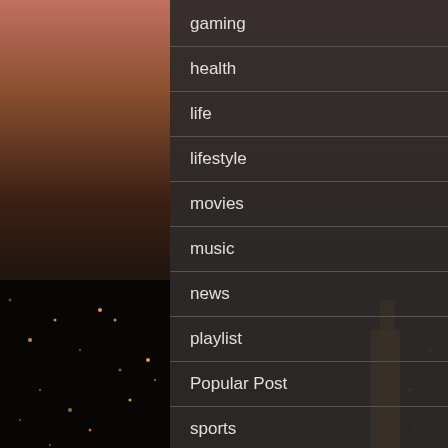[Figure (photo): Night cityscape of a metropolitan area at dusk with warm orange/purple sky on the left and right sides, serving as background]
gaming
health
life
lifestyle
movies
music
news
playlist
Popular Post
sports
Trending
Trending News
Trending video
vid